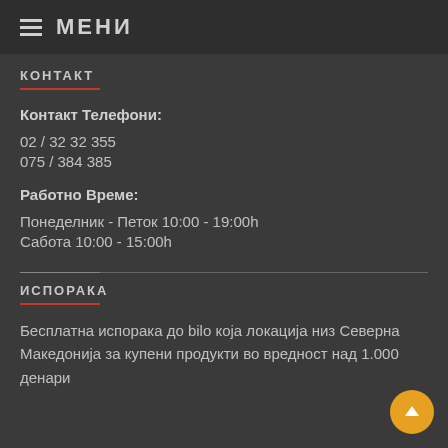МЕНИ
КОНТАКТ
Контакт Телефони:
02 / 32 32 355
075 / 384 385
Работно Време:
Понеделник - Петок 10:00 - 19:00h
Сабота 10:00 - 15:00h
ИСПОРАКА
Бесплатна испорака до било која локација низ Северна Македонија за купени продукти во вредност над 1.000 денари